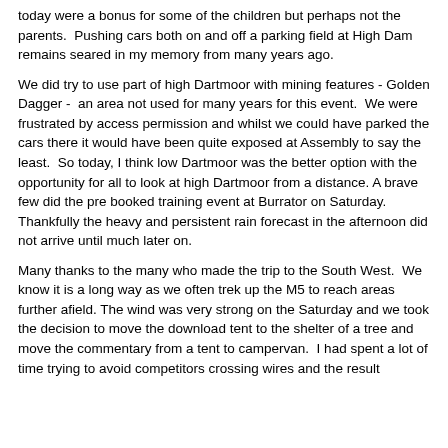today were a bonus for some of the children but perhaps not the parents.  Pushing cars both on and off a parking field at High Dam remains seared in my memory from many years ago.
We did try to use part of high Dartmoor with mining features - Golden Dagger -  an area not used for many years for this event.  We were frustrated by access permission and whilst we could have parked the cars there it would have been quite exposed at Assembly to say the least.  So today, I think low Dartmoor was the better option with the opportunity for all to look at high Dartmoor from a distance. A brave few did the pre booked training event at Burrator on Saturday.  Thankfully the heavy and persistent rain forecast in the afternoon did not arrive until much later on.
Many thanks to the many who made the trip to the South West.  We know it is a long way as we often trek up the M5 to reach areas further afield. The wind was very strong on the Saturday and we took the decision to move the download tent to the shelter of a tree and move the commentary from a tent to campervan.  I had spent a lot of time trying to avoid competitors crossing wires and the result